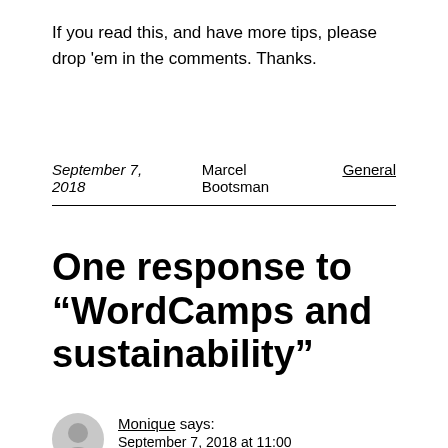If you read this, and have more tips, please drop 'em in the comments. Thanks.
September 7, 2018   Marcel Bootsman   General
One response to “WordCamps and sustainability”
Monique says:
September 7, 2018 at 11:00